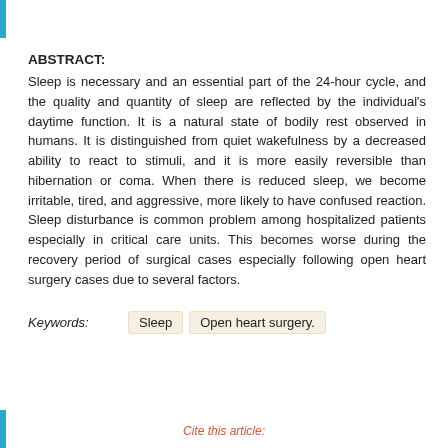ABSTRACT:
Sleep is necessary and an essential part of the 24-hour cycle, and the quality and quantity of sleep are reflected by the individual's daytime function. It is a natural state of bodily rest observed in humans. It is distinguished from quiet wakefulness by a decreased ability to react to stimuli, and it is more easily reversible than hibernation or coma. When there is reduced sleep, we become irritable, tired, and aggressive, more likely to have confused reaction. Sleep disturbance is common problem among hospitalized patients especially in critical care units. This becomes worse during the recovery period of surgical cases especially following open heart surgery cases due to several factors.
Keywords:   Sleep   Open heart surgery.
Cite this article: